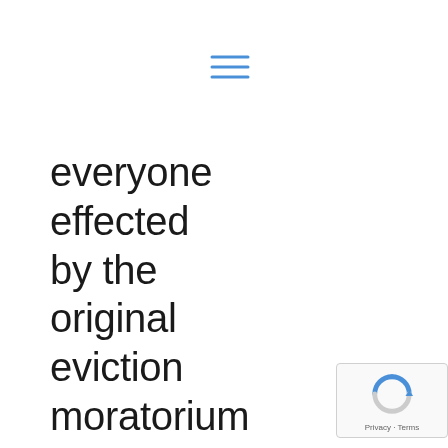[Figure (other): Blue hamburger menu icon with three horizontal lines]
everyone effected by the original eviction moratorium that the LAST extension
[Figure (other): reCAPTCHA badge with logo and Privacy - Terms text]